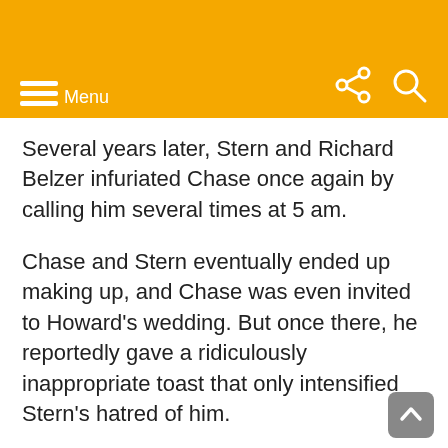Menu
Several years later, Stern and Richard Belzer infuriated Chase once again by calling him several times at 5 am.
Chase and Stern eventually ended up making up, and Chase was even invited to Howard's wedding. But once there, he reportedly gave a ridiculously inappropriate toast that only intensified Stern's hatred of him.
Kevin Smith
In 1997, Kevin Smith met up with Chevy Chase to discuss the possible reboot of the Fletch series